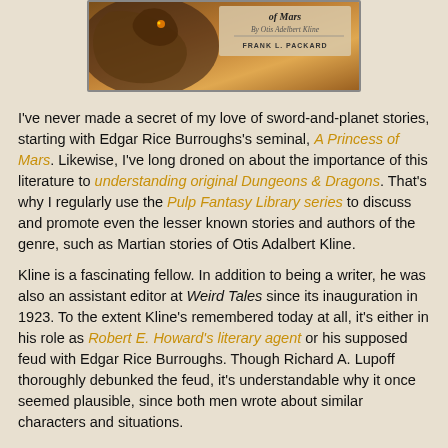[Figure (illustration): Book cover image showing a creature/monster scene, partial view, with text 'of Mars By Otis Adelbert Kline' and 'FRANK L. PACKARD']
I've never made a secret of my love of sword-and-planet stories, starting with Edgar Rice Burroughs's seminal, A Princess of Mars. Likewise, I've long droned on about the importance of this literature to understanding original Dungeons & Dragons. That's why I regularly use the Pulp Fantasy Library series to discuss and promote even the lesser known stories and authors of the genre, such as Martian stories of Otis Adalbert Kline.
Kline is a fascinating fellow. In addition to being a writer, he was also an assistant editor at Weird Tales since its inauguration in 1923. To the extent Kline's remembered today at all, it's either in his role as Robert E. Howard's literary agent or his supposed feud with Edgar Rice Burroughs. Though Richard A. Lupoff thoroughly debunked the feud, it's understandable why it once seemed plausible, since both men wrote about similar characters and situations.